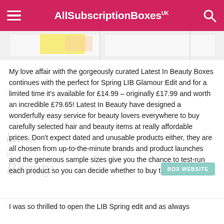AllSubscriptionBoxes UK
[Figure (photo): Partial image of Latest In Beauty box products on a white surface, cut off at the top of the page]
My love affair with the gorgeously curated Latest In Beauty Boxes continues with the perfect for Spring LIB Glamour Edit and for a limited time it's available for £14.99 – originally £17.99 and worth an incredible £79.65! Latest In Beauty have designed a wonderfully easy service for beauty lovers everywhere to buy carefully selected hair and beauty items at really affordable prices. Don't expect dated and unusable products either, they are all chosen from up-to-the-minute brands and product launches and the generous sample sizes give you the chance to test-run each product so you can decide whether to buy the full size.
I was so thrilled to open the LIB Spring edit and as always